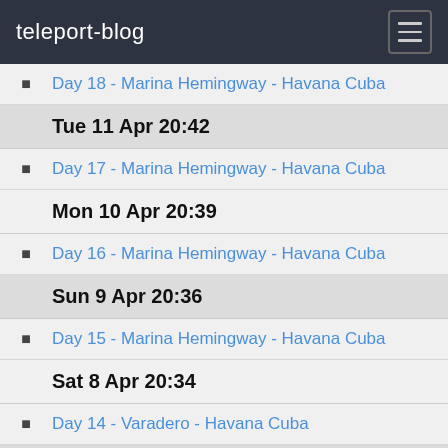teleport-blog
Day 18 - Marina Hemingway - Havana Cuba
Tue 11 Apr 20:42
Day 17 - Marina Hemingway - Havana Cuba
Mon 10 Apr 20:39
Day 16 - Marina Hemingway - Havana Cuba
Sun 9 Apr 20:36
Day 15 - Marina Hemingway - Havana Cuba
Sat 8 Apr 20:34
Day 14 - Varadero - Havana Cuba
Fri 7 Apr 20:26
Day 13 - Marina Gaviota Varadero Cuba
Thu 6 Apr 20:11
Day 12 - Marina Gaviota Varadero Cuba
Wed 5 Apr 19:43
Day 11 - Marathon Florida - Varadero Cuba